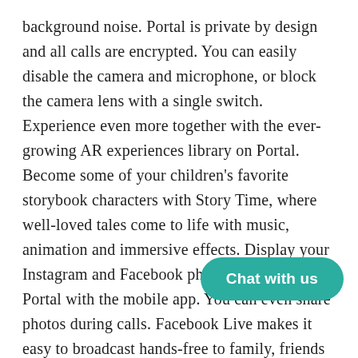background noise. Portal is private by design and all calls are encrypted. You can easily disable the camera and microphone, or block the camera lens with a single switch. Experience even more together with the ever-growing AR experiences library on Portal. Become some of your children's favorite storybook characters with Story Time, where well-loved tales come to life with music, animation and immersive effects. Display your Instagram and Facebook photos directly to your Portal with the mobile app. You can even share photos during calls. Facebook Live makes it easy to broadcast hands-free to family, friends and fans. With additional account activations, you can enjoy music, videos, news, games and more from our growing list of partners including Spotify, Pandora, iHeartRadio, [obscured] Network. You can also work smarter fro[obscured]ers like Zoom and Workplace from Facebook. With Alexa Built-in,
[Figure (other): Teal rounded pill-shaped chat button with white text 'Chat with us']